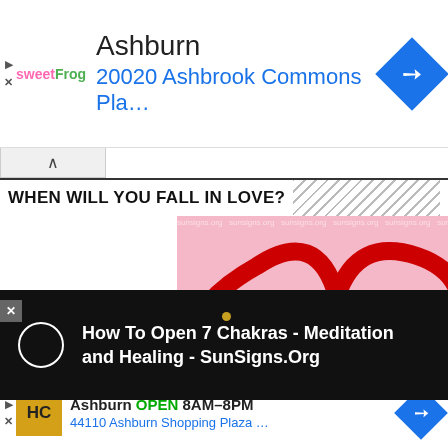[Figure (screenshot): Sweet Frog advertisement banner: Ashburn location at 20020 Ashbrook Commons Pla... with blue navigation diamond icon]
[Figure (screenshot): Collapse/chevron tab UI element]
WHEN WILL YOU FALL IN LOVE?
[Figure (photo): Pink background with two overlapping red painted heart outlines and small red hearts scattered at the bottom. Watermark text: sunsigns.org repeated across top.]
-ADVERTISEMENT-
[Figure (screenshot): Video player overlay on dark background showing: How To Open 7 Chakras - Meditation and Healing - SunSigns.Org]
[Figure (screenshot): HC (Harris Carpets or similar) advertisement: Ashburn OPEN 8AM-8PM, 44110 Ashburn Shopping Plaza ...]